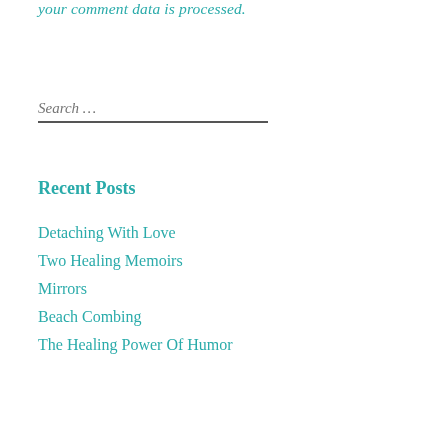your comment data is processed.
Search …
Recent Posts
Detaching With Love
Two Healing Memoirs
Mirrors
Beach Combing
The Healing Power Of Humor